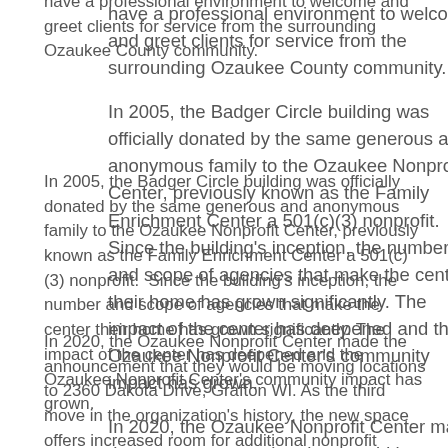have a professional environment to welcome and greet clients for service from the surrounding Ozaukee County community.
In 2005, the Badger Circle building was officially donated by the same generous and anonymous family to the Ozaukee Nonprofit Center, previously known as the Family Enrichment Center a 501(c)(3) nonprofit.  Since the building's inception, the number and scope of agencies that make the center their home has grown significantly. The impact of the center has deepened and the Ozaukee Nonprofit Center's community impact has grown.
In 2020, the Ozaukee Nonprofit Center made the announcement that they would be moving locations to 2360 Dakota Drive, Grafton WI. As the third move in the organization's history, the new space offers increased room for additional nonprofit partners, increased space for inter-agency collaboration, and increased space to